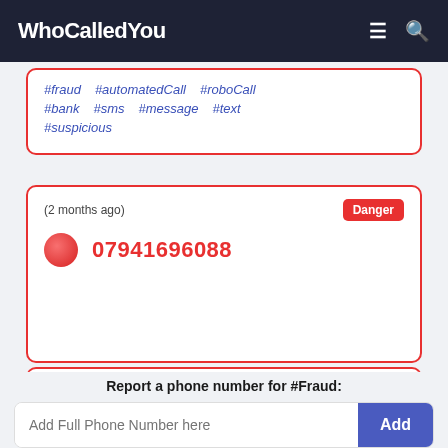WhoCalledYou
#fraud #automatedCall #roboCall #bank #sms #message #text #suspicious
(2 months ago)
Danger
07941696088
#fraud #bank #scam #pretending
Report a phone number for #Fraud:
Add Full Phone Number here
Add